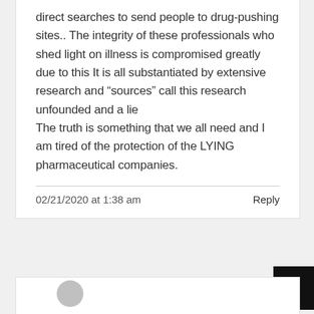direct searches to send people to drug-pushing sites.. The integrity of these professionals who shed light on illness is compromised greatly due to this It is all substantiated by extensive research and “sources” call this research unfounded and a lie
The truth is something that we all need and I am tired of the protection of the LYING pharmaceutical companies.
02/21/2020 at 1:38 am
Reply